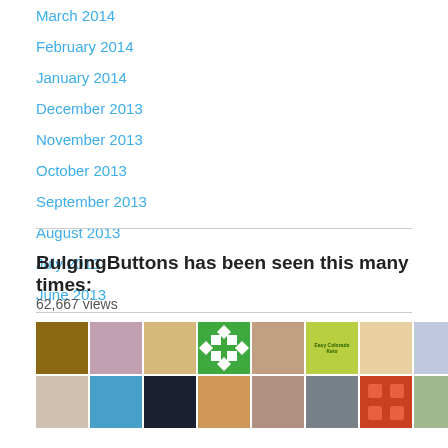March 2014
February 2014
January 2014
December 2013
November 2013
October 2013
September 2013
August 2013
July 2013
June 2013
BulgingButtons has been seen this many times:
62,667 views
[Figure (photo): Grid of small thumbnail photos arranged in two rows]